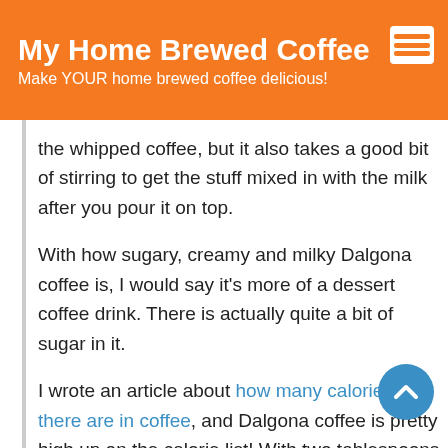My Home Brewed Coffee — Make YOUR home brewed coffee delicious!
the whipped coffee, but it also takes a good bit of stirring to get the stuff mixed in with the milk after you pour it on top.
With how sugary, creamy and milky Dalgona coffee is, I would say it’s more of a dessert coffee drink. There is actually quite a bit of sugar in it.
I wrote an article about how many calories there are in coffee, and Dalgona coffee is pretty high up on the calorie list! With two tablespoons of sugar, it’s one of the big boys